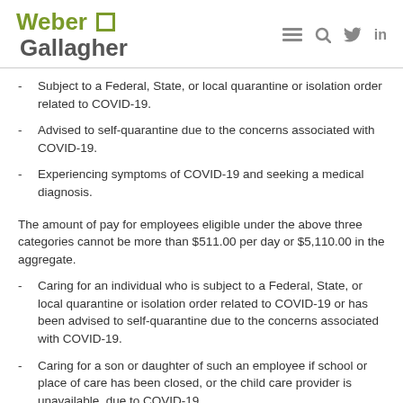Weber Gallagher
Subject to a Federal, State, or local quarantine or isolation order related to COVID-19.
Advised to self-quarantine due to the concerns associated with COVID-19.
Experiencing symptoms of COVID-19 and seeking a medical diagnosis.
The amount of pay for employees eligible under the above three categories cannot be more than $511.00 per day or $5,110.00 in the aggregate.
Caring for an individual who is subject to a Federal, State, or local quarantine or isolation order related to COVID-19 or has been advised to self-quarantine due to the concerns associated with COVID-19.
Caring for a son or daughter of such an employee if school or place of care has been closed, or the child care provider is unavailable, due to COVID-19.